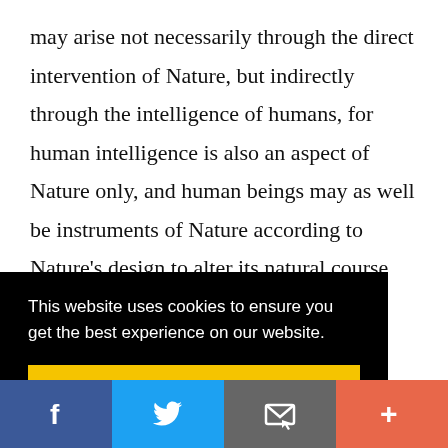may arise not necessarily through the direct intervention of Nature, but indirectly through the intelligence of humans, for human intelligence is also an aspect of Nature only, and human beings may as well be instruments of Nature according to Nature's design to alter its natural course and create new opportunities and possibilities for the
This website uses cookies to ensure you get the best experience on our website.
Got it!
[Figure (other): Social sharing bar with four buttons: Facebook (blue), Twitter (light blue), Email (grey), More/Plus (coral/orange-red)]